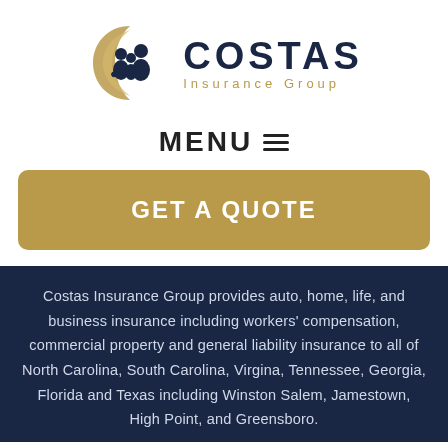[Figure (logo): Costas Insurance Group logo with a golden crescent arc encircling a dark blue family icon silhouette, next to the text COSTAS Insurance Group]
MENU ☰
GET A QUOTE
Costas Insurance Group provides auto, home, life, and business insurance including workers' compensation, commercial property and general liability insurance to all of North Carolina, South Carolina, Virgina, Tennessee, Georgia, Florida and Texas including Winston Salem, Jamestown, High Point, and Greensboro.